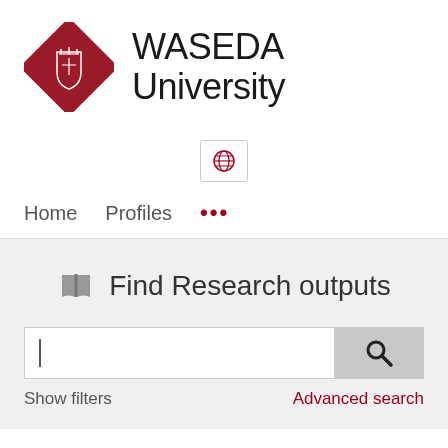[Figure (logo): Waseda University logo: dark red diamond shape with white shield/crest icon, followed by text 'WASEDA University' in large sans-serif font]
[Figure (other): Language selector button showing a globe/world icon in a rounded rectangle border]
Home   Profiles   …
[Figure (other): Open book icon in gray]
Find Research outputs
Show filters
Advanced search